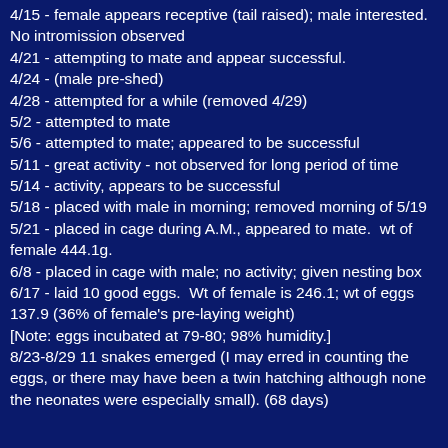4/15 - female appears receptive (tail raised); male interested.  No intromission observed
4/21 - attempting to mate and appear successful.
4/24 - (male pre-shed)
4/28 - attempted for a while (removed 4/29)
5/2 - attempted to mate
5/6 - attempted to mate; appeared to be successful
5/11 - great activity - not observed for long period of time
5/14 - activity, appears to be successful
5/18 - placed with male in morning; removed morning of 5/19
5/21 - placed in cage during A.M., appeared to mate.  wt of female 444.1g.
6/8 - placed in cage with male; no activity; given nesting box
6/17 - laid 10 good eggs.  Wt of female is 246.1; wt of eggs 137.9 (36% of female's pre-laying weight)
[Note: eggs incubated at 79-80; 98% humidity.]
8/23-8/29 11 snakes emerged (I may erred in counting the eggs, or there may have been a twin hatching although none the neonates were especially small). (68 days)